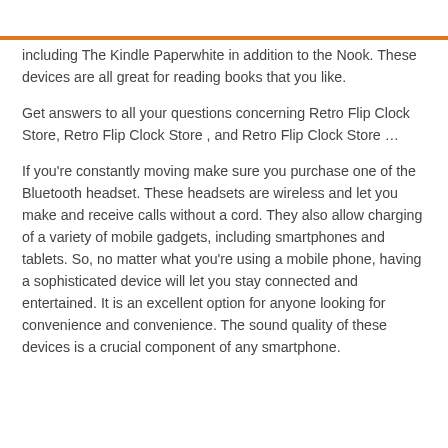including The Kindle Paperwhite in addition to the Nook. These devices are all great for reading books that you like.
Get answers to all your questions concerning Retro Flip Clock Store, Retro Flip Clock Store , and Retro Flip Clock Store …
If you're constantly moving make sure you purchase one of the Bluetooth headset. These headsets are wireless and let you make and receive calls without a cord. They also allow charging of a variety of mobile gadgets, including smartphones and tablets. So, no matter what you're using a mobile phone, having a sophisticated device will let you stay connected and entertained. It is an excellent option for anyone looking for convenience and convenience. The sound quality of these devices is a crucial component of any smartphone.